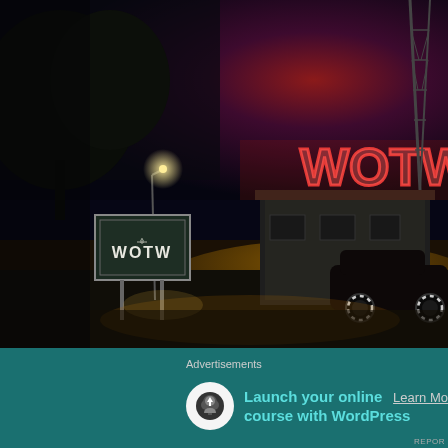[Figure (photo): Nighttime scene of a WOTW radio station building. A dark, atmospheric shot showing a small building with a tall broadcast tower on the right side glowing with red neon light. A WOTW sign is illuminated on the left side of the image. A vintage dark-colored car is parked in front of the building. Trees are visible in the dark background on the left. The scene is lit with warm orange/red tones from neon signage.]
Advertisements
Launch your online course with WordPress
Learn Mo...